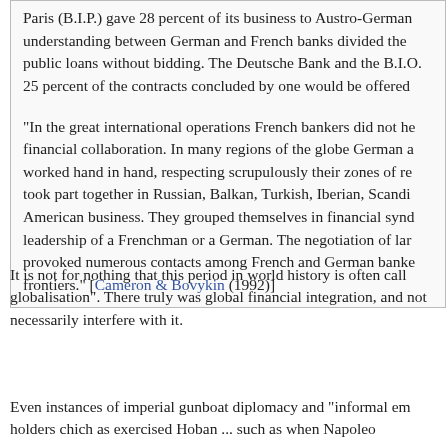Paris (B.I.P.) gave 28 percent of its business to Austro-German understanding between German and French banks divided the public loans without bidding. The Deutsche Bank and the B.I.O. 25 percent of the contracts concluded by one would be offered
"In the great international operations French bankers did not he financial collaboration. In many regions of the globe German a worked hand in hand, respecting scrupulously their zones of re took part together in Russian, Balkan, Turkish, Iberian, Scandi American business. They grouped themselves in financial synd leadership of a Frenchman or a German. The negotiation of lar provoked numerous contacts among French and German banke frontiers." [Cameron & Bovykin (1992)]
It is not for nothing that this period in world history is often call globalisation". There truly was global financial integration, and not necessarily interfere with it.
Even instances of imperial gunboat diplomacy and "informal em holders chich as exercised Hoban ... such as when Napoleo